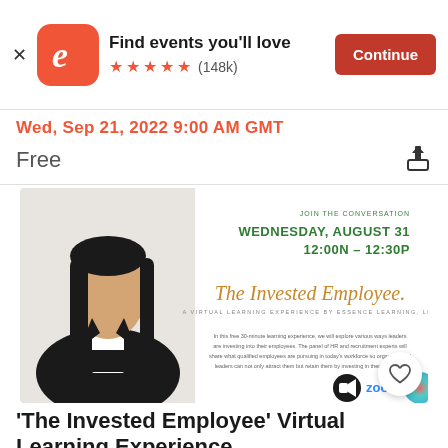[Figure (screenshot): Eventbrite app banner with orange logo, 'Find events you'll love', five orange stars, (148k) reviews, and orange Continue button]
Wed, Sep 21, 2022 9:00 AM GMT
Free
[Figure (photo): Event promotional image for 'The Invested Employee' virtual learning experience. Shows a professional Asian woman in business attire with arms crossed. Text reads: JOIN THE CONVERSATION, WEDNESDAY, AUGUST 31, 12:00N - 12:30P, The Invested Employee. A VIRTUAL LEARNING EXPERIENCE BY ESSENCE LEARNING, LLC. Description text and Zoom logo visible.]
'The Invested Employee' Virtual Learning Experience